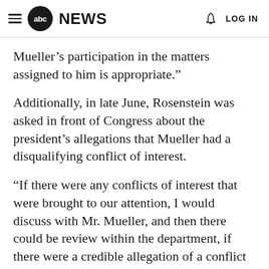abc NEWS  LOG IN
Mueller's participation in the matters assigned to him is appropriate."
Additionally, in late June, Rosenstein was asked in front of Congress about the president's allegations that Mueller had a disqualifying conflict of interest.
"If there were any conflicts of interest that were brought to our attention, I would discuss with Mr. Mueller, and then there could be review within the department, if there were a credible allegation of a conflict of interest," Rosenstein answered. "And so I'm not aware of any disqualifying conflicts of interest."